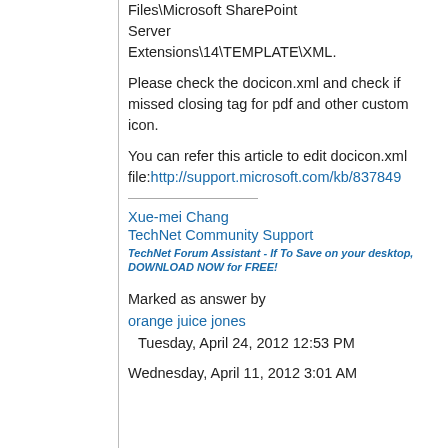Files\Microsoft SharePoint Server Extensions\14\TEMPLATE\XML.
Please check the docicon.xml and check if missed closing tag for pdf and other custom icon.
You can refer this article to edit docicon.xml file:http://support.microsoft.com/kb/837849
Xue-mei Chang
TechNet Community Support
TechNet Forum Assistant - If To Save on your desktop, DOWNLOAD NOW for FREE!
Marked as answer by orange juice jones Tuesday, April 24, 2012 12:53 PM
Wednesday, April 11, 2012 3:01 AM